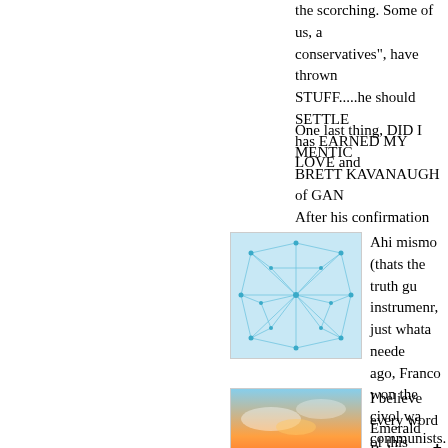the scorching. Some of us, a conservatives", have thrown STUFF.....he should SETTLE has EARNED MY LOVE and
One last thing, DID I MENTION BRETT KAVANAUGH of GAN After his confirmation hearing...
[Figure (photo): Blue network/web pattern avatar thumbnail]
Ahi mismo (thats the truth gu instrumenr, just whata neede ago, Franco won the civol wa communists. Now nearly 50 y him.
[Figure (photo): Sunset over water landscape photo avatar thumbnail]
I believe every word of this
Emerald Robinson ✟ on Twit right now? People like Mitt Ro around the idea that it's time Ponce as President. They no...